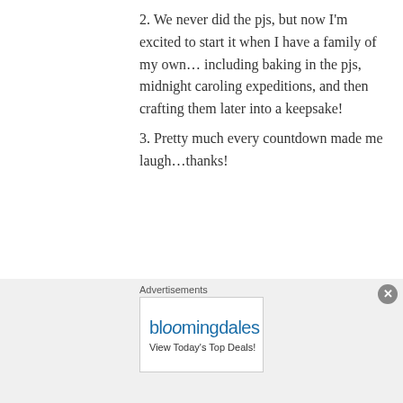2. We never did the pjs, but now I'm excited to start it when I have a family of my own… including baking in the pjs, midnight caroling expeditions, and then crafting them later into a keepsake!
3. Pretty much every countdown made me laugh…thanks!
★ Like
👍 0 👎 0 ℹ Rate This
↳ Reply
Advertisements
[Figure (screenshot): Bloomingdale's advertisement banner with hat image and SHOP NOW button]